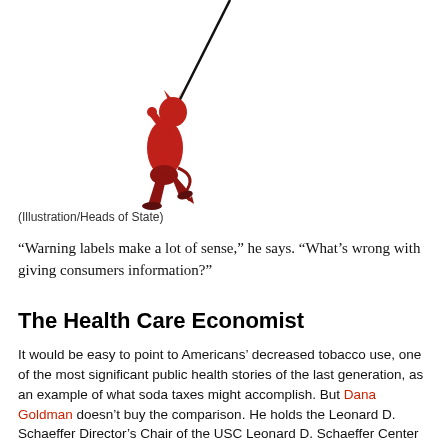[Figure (illustration): A red devil figure holding a long pole/staff, illustrated in a dynamic pose, pointing the staff upward diagonally. The figure has horns and a tail.]
(Illustration/Heads of State)
“Warning labels make a lot of sense,” he says. “What’s wrong with giving consumers information?”
The Health Care Economist
It would be easy to point to Americans’ decreased tobacco use, one of the most significant public health stories of the last generation, as an example of what soda taxes might accomplish. But Dana Goldman doesn’t buy the comparison. He holds the Leonard D. Schaeffer Director’s Chair of the USC Leonard D. Schaeffer Center for Health Policy and Economics.